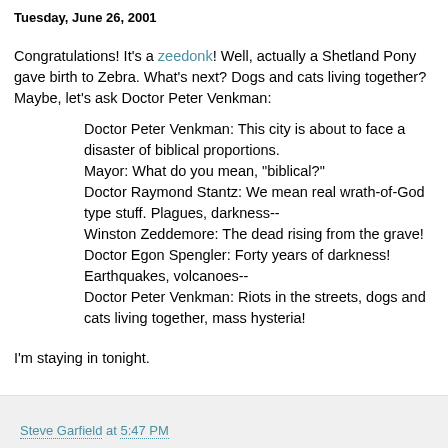Tuesday, June 26, 2001
Congratulations! It's a zeedonk! Well, actually a Shetland Pony gave birth to Zebra. What's next? Dogs and cats living together? Maybe, let's ask Doctor Peter Venkman:
Doctor Peter Venkman: This city is about to face a disaster of biblical proportions.
Mayor: What do you mean, "biblical?"
Doctor Raymond Stantz: We mean real wrath-of-God type stuff. Plagues, darkness--
Winston Zeddemore: The dead rising from the grave!
Doctor Egon Spengler: Forty years of darkness! Earthquakes, volcanoes--
Doctor Peter Venkman: Riots in the streets, dogs and cats living together, mass hysteria!
I'm staying in tonight.
Steve Garfield at 5:47 PM